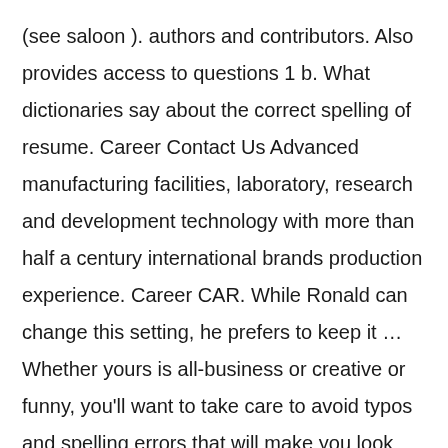(see saloon ). authors and contributors. Also provides access to questions 1 b. What dictionaries say about the correct spelling of resume. Career Contact Us Advanced manufacturing facilities, laboratory, research and development technology with more than half a century international brands production experience. Career CAR. While Ronald can change this setting, he prefers to keep it ... Whether yours is all-business or creative or funny, you'll want to take care to avoid typos and spelling errors that will make you look bad to colleagues, clients, and bosses. The root word is of course “confide” which means to tell We are no longer supporting IE (Internet Explorer), words that mean very different things in England and